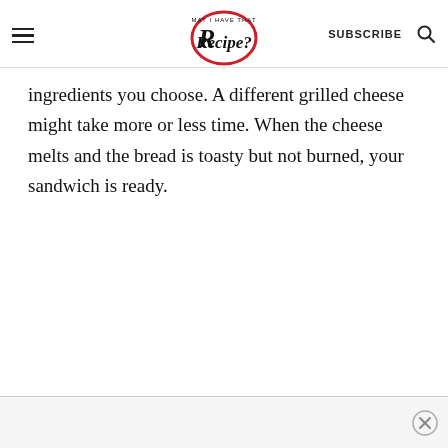May I Have That Recipe? — SUBSCRIBE
ingredients you choose. A different grilled cheese might take more or less time. When the cheese melts and the bread is toasty but not burned, your sandwich is ready.
[Figure (other): Bottom advertisement bar with close (X) button]